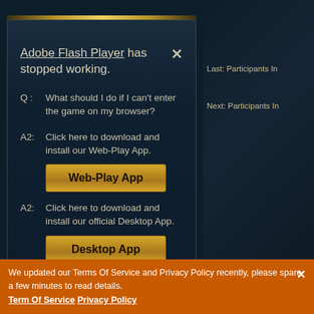[Figure (screenshot): Game website background with dark navy/teal fantasy theme]
Last: Participants In
Next: Participants In
Contact Us | Terms Of Ser
Adobe Flash Player has stopped working.
Q : What should I do if I can't enter the game on my browser?
A2: Click here to download and install our Web-Play App.
Web-Play App
A2: Click here to download and install our official Desktop App.
Desktop App
We updated our Terms Of Service and Privacy Policy recently, please spare a few minutes to read details. Term Of Service Privacy Policy